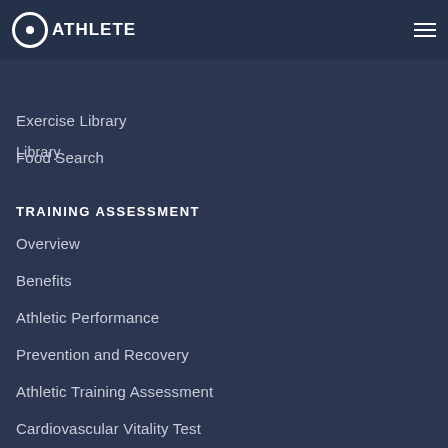QATHLETE
Library
Exercise Library
Food Search
TRAINING ASSESSMENT
Overview
Benefits
Athletic Performance
Prevention and Recovery
Athletic Training Assessment
Cardiovascular Vitality Test
CONTACTS
Home